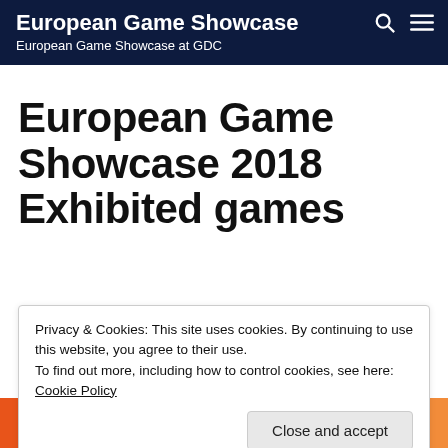European Game Showcase
European Game Showcase at GDC
European Game Showcase 2018 Exhibited games
Privacy & Cookies: This site uses cookies. By continuing to use this website, you agree to their use.
To find out more, including how to control cookies, see here: Cookie Policy
[Figure (other): Colorful geometric logo/image at the bottom of the page with orange, teal, and dark blue shapes]